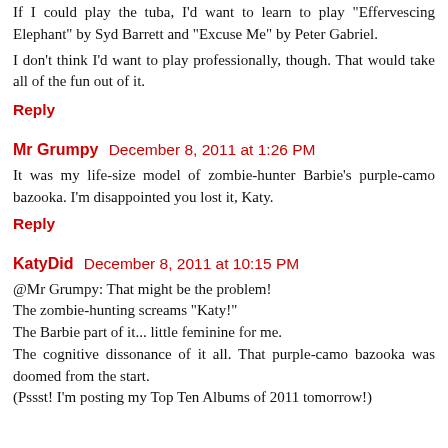If I could play the tuba, I'd want to learn to play "Effervescing Elephant" by Syd Barrett and "Excuse Me" by Peter Gabriel.
I don't think I'd want to play professionally, though. That would take all of the fun out of it.
Reply
Mr Grumpy   December 8, 2011 at 1:26 PM
It was my life-size model of zombie-hunter Barbie's purple-camo bazooka. I'm disappointed you lost it, Katy.
Reply
KatyDid   December 8, 2011 at 10:15 PM
@Mr Grumpy: That might be the problem!
The zombie-hunting screams "Katy!"
The Barbie part of it... little feminine for me.
The cognitive dissonance of it all. That purple-camo bazooka was doomed from the start.
(Pssst! I'm posting my Top Ten Albums of 2011 tomorrow!)